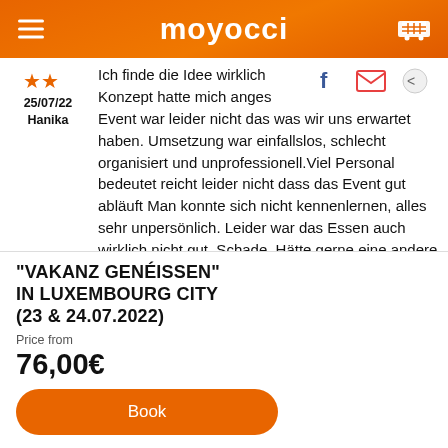moyocci
25/07/22 Hanika
Ich finde die Idee wirklich... Konzept hatte mich anges... Event war leider nicht das was wir uns erwartet haben. Umsetzung war einfallslos, schlecht organisiert und unprofessionell.Viel Personal bedeutet reicht leider nicht dass das Event gut abläuft Man konnte sich nicht kennenlernen, alles sehr unpersönlich. Leider war das Essen auch wirklich nicht gut. Schade. Hätte gerne eine andere Reszension geschrieben.
"VAKANZ GENÉISSEN" IN LUXEMBOURG CITY (23 & 24.07.2022)
Price from
76,00€
Book